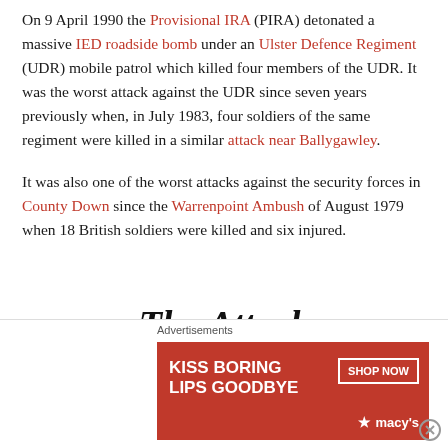On 9 April 1990 the Provisional IRA (PIRA) detonated a massive IED roadside bomb under an Ulster Defence Regiment (UDR) mobile patrol which killed four members of the UDR. It was the worst attack against the UDR since seven years previously when, in July 1983, four soldiers of the same regiment were killed in a similar attack near Ballygawley.
It was also one of the worst attacks against the security forces in County Down since the Warrenpoint Ambush of August 1979 when 18 British soldiers were killed and six injured.
The Attack
Advertisements
[Figure (infographic): Advertisement banner: Kiss Boring Lips Goodbye – Shop Now – Macy's, featuring a woman's face with red lipstick]